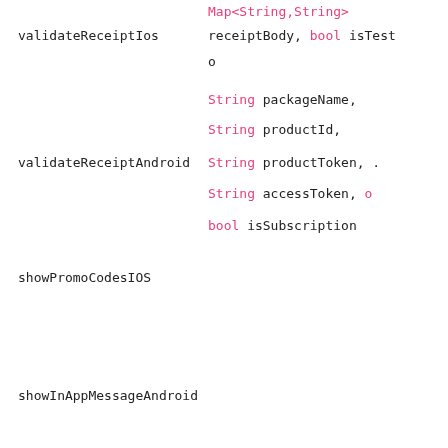validateReceiptIos   Map<String,String> receiptBody, bool isTest o
validateReceiptAndroid   String packageName, String productId, String productToken, . String accessToken, o bool isSubscription
showPromoCodesIOS
showInAppMessageAndroid